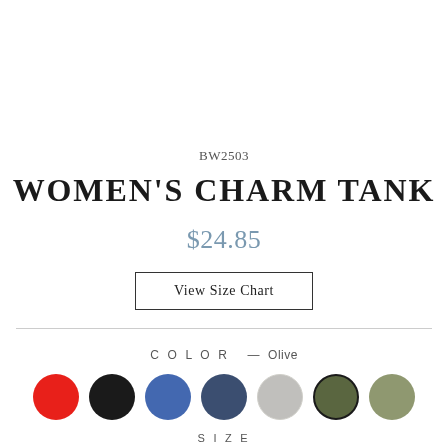BW2503
WOMEN'S CHARM TANK
$24.85
View Size Chart
COLOR — Olive
[Figure (illustration): Seven color swatches in circles: red, black, blue, navy, grey, olive (selected with border), light olive]
SIZE